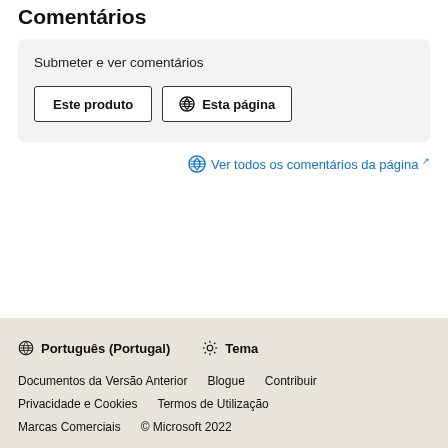Comentários
Submeter e ver comentários
Este produto
Esta página
Ver todos os comentários da página ↗
🌐 Português (Portugal)   ☀ Tema
Documentos da Versão Anterior   Blogue   Contribuir
Privacidade e Cookies   Termos de Utilização
Marcas Comerciais   © Microsoft 2022